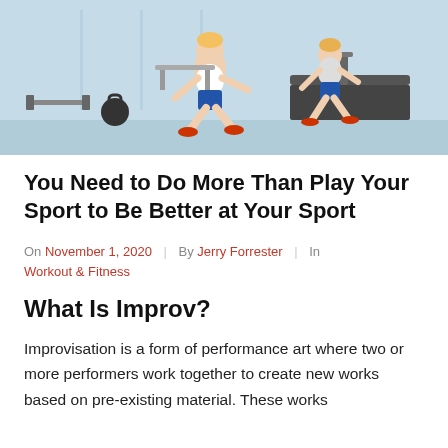[Figure (illustration): Illustration of people running on treadmills in a gym with weights and equipment in the background. Light blue color scheme.]
You Need to Do More Than Play Your Sport to Be Better at Your Sport
On November 1, 2020 | By Jerry Forrester | In Workout & Fitness
What Is Improv?
Improvisation is a form of performance art where two or more performers work together to create new works based on pre-existing material. These works